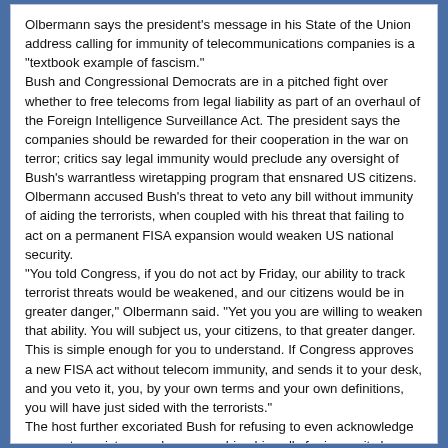Olbermann says the president's message in his State of the Union address calling for immunity of telecommunications companies is a "textbook example of fascism."
Bush and Congressional Democrats are in a pitched fight over whether to free telecoms from legal liability as part of an overhaul of the Foreign Intelligence Surveillance Act. The president says the companies should be rewarded for their cooperation in the war on terror; critics say legal immunity would preclude any oversight of Bush's warrantless wiretapping program that ensnared US citizens.
Olbermann accused Bush's threat to veto any bill without immunity of aiding the terrorists, when coupled with his threat that failing to act on a permanent FISA expansion would weaken US national security.
"You told Congress, if you do not act by Friday, our ability to track terrorist threats would be weakened, and our citizens would be in greater danger," Olbermann said. "Yet you you are willing to weaken that ability. You will subject us, your citizens, to that greater danger. This is simple enough for you to understand. If Congress approves a new FISA act without telecom immunity, and sends it to your desk, and you veto it, you, by your own terms and your own definitions, you will have just sided with the terrorists."
The host further excoriated Bush for refusing to even acknowledge corporate assistance, always couching his calls for immunity by describing companies "believed" or "alleged" to have assisted his still-classified program.